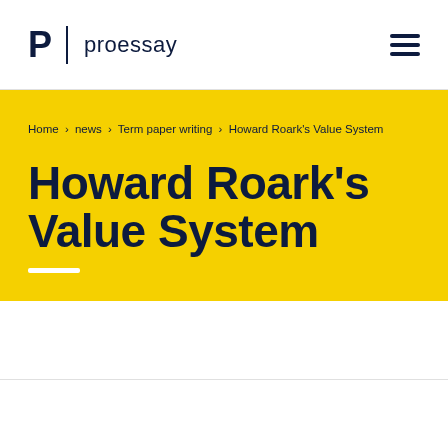P | proessay
Home › news › Term paper writing › Howard Roark's Value System
Howard Roark's Value System